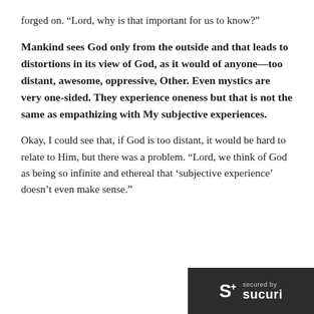forged on. “Lord, why is that important for us to know?”
Mankind sees God only from the outside and that leads to distortions in its view of God, as it would of anyone—too distant, awesome, oppressive, Other. Even mystics are very one-sided. They experience oneness but that is not the same as empathizing with My subjective experiences.
Okay, I could see that, if God is too distant, it would be hard to relate to Him, but there was a problem. “Lord, we think of God as being so infinite and ethereal that ‘subjective experience’ doesn’t even make sense.”
[Figure (logo): Sucuri security badge: dark grey rectangle with S+ logo and 'secured by sucuri' text in white]